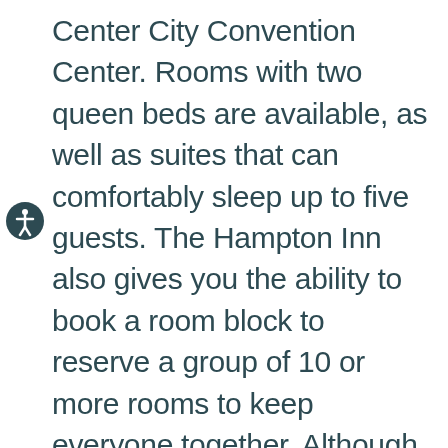Center City Convention Center. Rooms with two queen beds are available, as well as suites that can comfortably sleep up to five guests. The Hampton Inn also gives you the ability to book a room block to reserve a group of 10 or more rooms to keep everyone together. Although there is no available parking for buses or large vehicles on the premises, the hotel recommends groups park their bus at one of the nearby bus parking options, less than